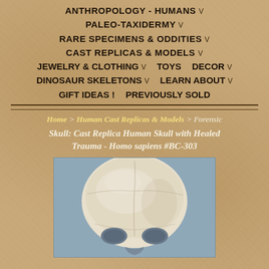ANTHROPOLOGY - HUMANS ∨
PALEO-TAXIDERMY ∨
RARE SPECIMENS & ODDITIES ∨
CAST REPLICAS & MODELS ∨
JEWELRY & CLOTHING ∨   TOYS   DECOR ∨
DINOSAUR SKELETONS ∨   LEARN ABOUT ∨
GIFT IDEAS !   PREVIOUSLY SOLD
Home > Human Cast Replicas & Models > Forensic Skull: Cast Replica Human Skull with Healed Trauma - Homo sapiens #BC-303
[Figure (photo): Top-down view of a white/cream cast replica human skull against a gray-blue background, showing the cranium from above with visible eye socket openings]